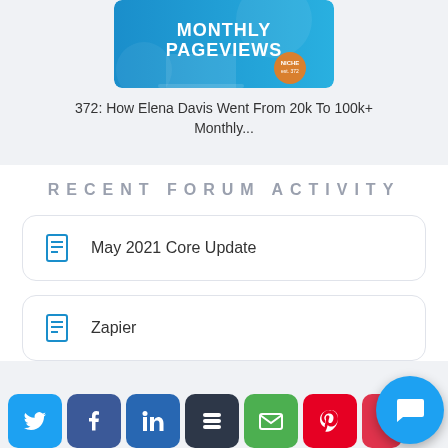[Figure (illustration): Blue banner image with 'MONTHLY PAGEVIEWS' text and a logo badge]
372: How Elena Davis Went From 20k To 100k+ Monthly...
RECENT FORUM ACTIVITY
May 2021 Core Update
Zapier
[Figure (infographic): Social sharing bar with Twitter, Facebook, LinkedIn, Buffer, Email, Pinterest buttons and a chat bubble icon]